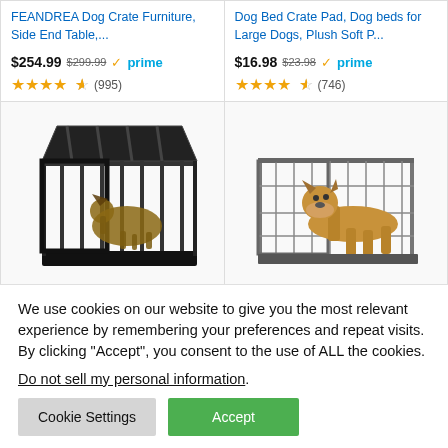FEANDREA Dog Crate Furniture, Side End Table,...
$254.99 $299.99 ✓prime — Rating: 4.5 stars (995)
Dog Bed Crate Pad, Dog beds for Large Dogs, Plush Soft P...
$16.98 $23.98 ✓prime — Rating: 4.5 stars (746)
[Figure (photo): Black heavy duty dog crate with open top, German Shepherd inside]
[Figure (photo): Wire dog crate with large dog (boxer) standing inside]
LEMBERI 48/38 inch Heavy...
Midwest SL54DD Ginormus...
We use cookies on our website to give you the most relevant experience by remembering your preferences and repeat visits. By clicking "Accept", you consent to the use of ALL the cookies.
Do not sell my personal information.
Cookie Settings
Accept